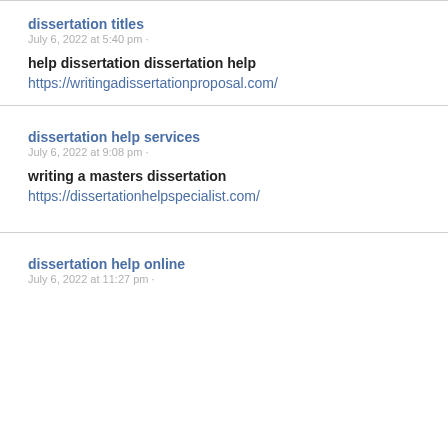dissertation titles
July 6, 2022 at 5:40 pm ·
help dissertation dissertation help
https://writingadissertationproposal.com/
dissertation help services
July 6, 2022 at 9:08 pm ·
writing a masters dissertation
https://dissertationhelpspecialist.com/
dissertation help online
July 6, 2022 at 11:27 pm ·